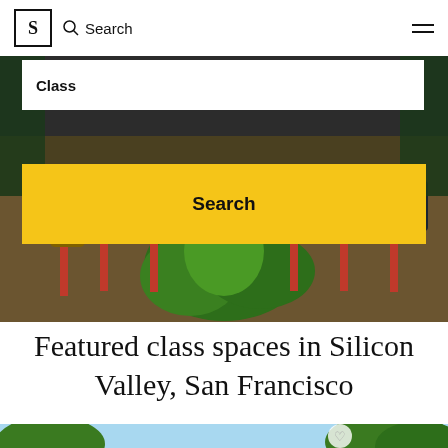S Search
Class
Search
[Figure (photo): Classroom scene with students sitting on red stools/chairs, legs visible, green plants in foreground]
Featured class spaces in Silicon Valley, San Francisco
[Figure (photo): Outdoor space with trees and blue sky, partial view at bottom of page with a heart icon]